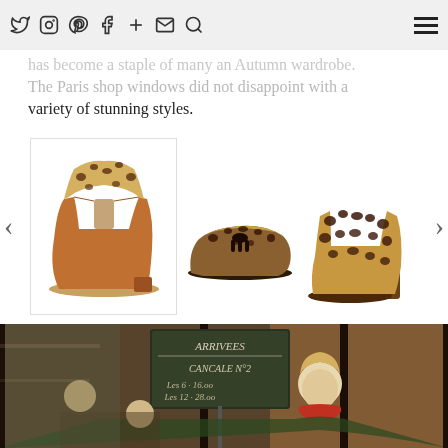Navigation bar with social icons: Twitter, Instagram, Pinterest, Facebook, Plus, Email, Search, and hamburger menu
has become a staple of many an Autumn wardrobe. The Paris shop windows did not disappoint with a variety of stunning styles.
[Figure (photo): Carousel of leopard print shoes: left - brown leather and leopard Chelsea boot, center - leopard loafer with tassel, right - leopard ankle boot with block heel. Navigation arrows on sides.]
[Figure (photo): Photo of a woman with short blonde hair smiling at a Paris cafe/restaurant, wearing a red scarf and green coat. A chalkboard menu sign reads: ARRIVEES, CANCALE N°2, Les 6 · 16.00, Les 12 · 28.00. Reflections of street visible in glass.]